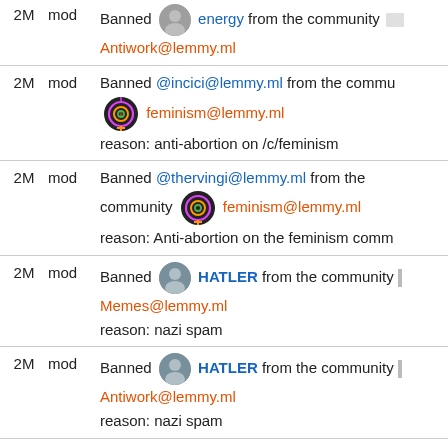2M mod Banned energy from the community Antiwork@lemmy.ml
2M mod Banned @incici@lemmy.ml from the community feminism@lemmy.ml reason: anti-abortion on /c/feminism
2M mod Banned @thervingi@lemmy.ml from the community feminism@lemmy.ml reason: Anti-abortion on the feminism comm
2M mod Banned HATLER from the community Memes@lemmy.ml reason: nazi spam
2M mod Banned HATLER from the community Antiwork@lemmy.ml reason: nazi spam
2M admin Removed Post Why did I agree to create this group?